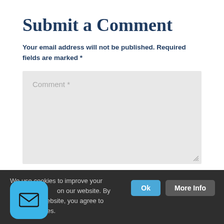Submit a Comment
Your email address will not be published. Required fields are marked *
[Figure (screenshot): Comment text area input field with placeholder text 'Comment *' and resize handle]
We use cookies to improve your experience on our website. By using this website, you agree to our use of cookies.
[Figure (illustration): Blue rounded square icon with envelope/mail symbol]
Ok
More Info